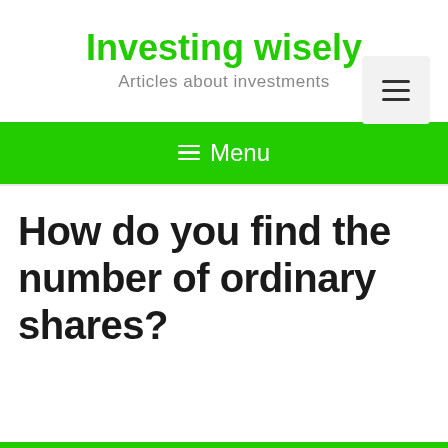Investing wisely
Articles about investments
How do you find the number of ordinary shares?